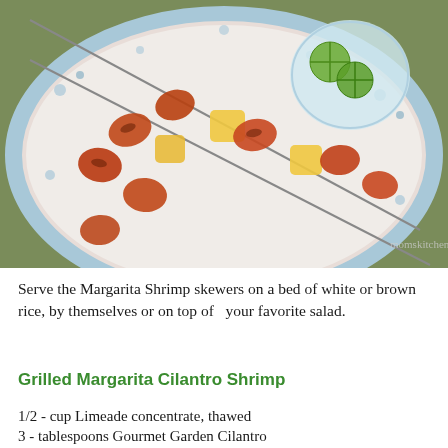[Figure (photo): Photo of grilled margarita shrimp and pineapple skewers on a decorative plate with blue floral border, alongside a glass dish with lime slices. Watermark reads momskitchen.net.]
Serve the Margarita Shrimp skewers on a bed of white or brown rice, by themselves or on top of  your favorite salad.
Grilled Margarita Cilantro Shrimp
1/2 - cup Limeade concentrate, thawed
3 - tablespoons Gourmet Garden Cilantro